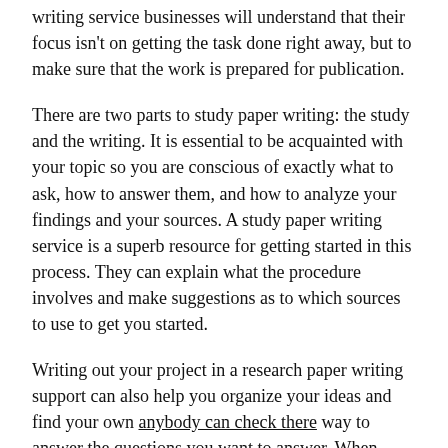writing service businesses will understand that their focus isn't on getting the task done right away, but to make sure that the work is prepared for publication.
There are two parts to study paper writing: the study and the writing. It is essential to be acquainted with your topic so you are conscious of exactly what to ask, how to answer them, and how to analyze your findings and your sources. A study paper writing service is a superb resource for getting started in this process. They can explain what the procedure involves and make suggestions as to which sources to use to get you started.
Writing out your project in a research paper writing support can also help you organize your ideas and find your own anybody can check there way to answer the questions you want to answer. When